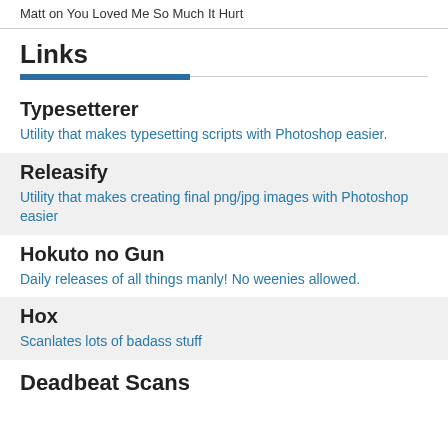Matt on You Loved Me So Much It Hurt
Links
Typesetterer
Utility that makes typesetting scripts with Photoshop easier.
Releasify
Utility that makes creating final png/jpg images with Photoshop easier
Hokuto no Gun
Daily releases of all things manly! No weenies allowed.
Hox
Scanlates lots of badass stuff
Deadbeat Scans